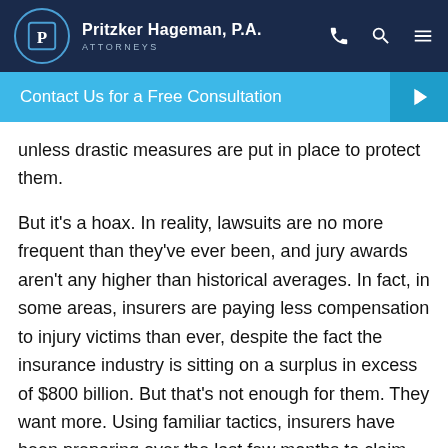Pritzker Hageman, P.A. ATTORNEYS
Contact Us for a Free Consultation →
unless drastic measures are put in place to protect them.
But it's a hoax. In reality, lawsuits are no more frequent than they've ever been, and jury awards aren't any higher than historical averages. In fact, in some areas, insurers are paying less compensation to injury victims than ever, despite the fact the insurance industry is sitting on a surplus in excess of $800 billion. But that's not enough for them. They want more. Using familiar tactics, insurers have been preparing over the last few months to claim more ground in their decades-